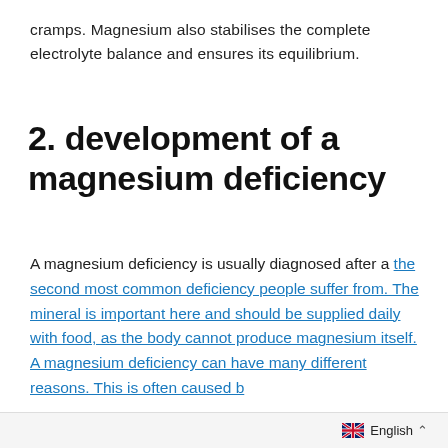cramps. Magnesium also stabilises the complete electrolyte balance and ensures its equilibrium.
2. development of a magnesium deficiency
A magnesium deficiency is usually diagnosed after a the second most common deficiency people suffer from. The mineral is important here and should be supplied daily with food, as the body cannot produce magnesium itself. A magnesium deficiency can have many different reasons. This is often caused b...
English